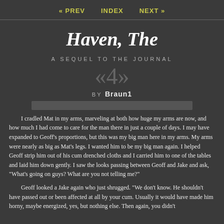« PREV   INDEX   NEXT »
Haven, The
A SEQUEL TO THE JOURNAL
«4»
BY Braun1
I cradled Mat in my arms, marveling at both how huge my arms are now, and how much I had come to care for the man there in just a couple of days. I may have expanded to Geoff's proportions, but this was my big man here in my arms. My arms were nearly as big as Mat's legs. I wanted him to be my big man again. I helped Geoff strip him out of his cum drenched cloths and I carried him to one of the tables and laid him down gently. I saw the looks passing between Geoff and Jake and ask, "What's going on guys? What are you not telling me?"
Geoff looked a Jake again who just shrugged. "We don't know. He shouldn't have passed out or been affected at all by your cum. Usually it would have made him horny, maybe energized, yes, but nothing else. Then again, you didn't